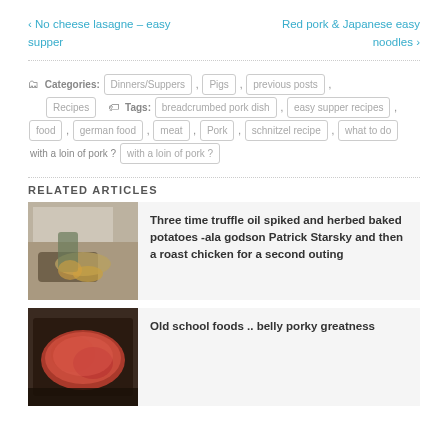‹ No cheese lasagne – easy supper
Red pork & Japanese easy noodles ›
Categories: Dinners/Suppers , Pigs , previous posts , Recipes   Tags: breadcrumbed pork dish , easy supper recipes , food , german food , meat , Pork , schnitzel recipe , what to do with a loin of pork ?
RELATED ARTICLES
[Figure (photo): Person cooking at stove with pans]
Three time truffle oil spiked and herbed baked potatoes -ala godson Patrick Starsky and then a roast chicken for a second outing
[Figure (photo): Raw pork belly in a roasting tin]
Old school foods .. belly porky greatness